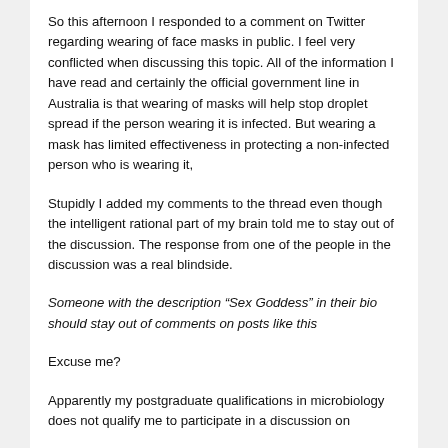So this afternoon I responded to a comment on Twitter regarding wearing of face masks in public. I feel very conflicted when discussing this topic. All of the information I have read and certainly the official government line in Australia is that wearing of masks will help stop droplet spread if the person wearing it is infected. But wearing a mask has limited effectiveness in protecting a non-infected person who is wearing it,
Stupidly I added my comments to the thread even though the intelligent rational part of my brain told me to stay out of the discussion. The response from one of the people in the discussion was a real blindside.
Someone with the description “Sex Goddess” in their bio should stay out of comments on posts like this
Excuse me?
Apparently my postgraduate qualifications in microbiology does not qualify me to participate in a discussion on